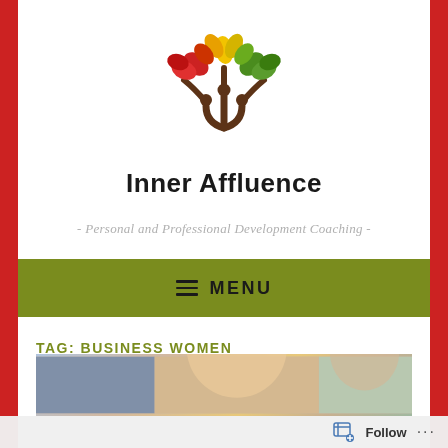[Figure (logo): Inner Affluence logo: stylized tree with colorful leaves (red, yellow, green) and two brown human figures with arms raised, forming the trunk]
Inner Affluence
- Personal and Professional Development Coaching -
≡ MENU
TAG: BUSINESS WOMEN
[Figure (photo): Partial photo strip showing a woman, cropped at bottom of page]